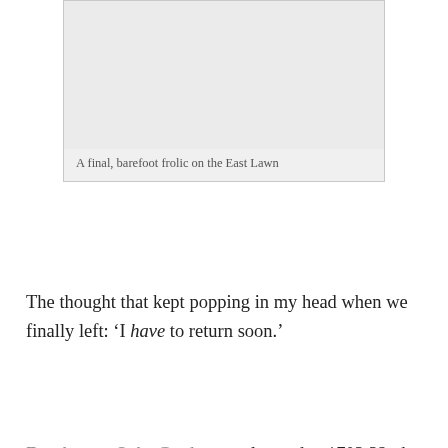[Figure (photo): A light gray placeholder image representing a photo of a final barefoot frolic on the East Lawn]
A final, barefoot frolic on the East Lawn
The thought that kept popping in my head when we finally left:  'I have to return soon.'
Dumbarton Oaks Gardens are located at 1703 32nd Street NW. Hours are Tuesday through Sunday from 2-6pm mid-March through October, and 2-5pm November – mid-March. (Remember that part about how I kind of knew why I hadn't visited yet?  I'd tried a couple of times, but always at the wrong time.) Admission is $8/adults,